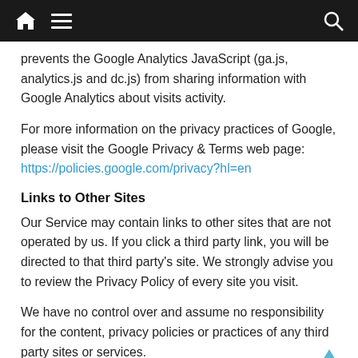Navigation bar with home, menu, and search icons
prevents the Google Analytics JavaScript (ga.js, analytics.js and dc.js) from sharing information with Google Analytics about visits activity.
For more information on the privacy practices of Google, please visit the Google Privacy & Terms web page: https://policies.google.com/privacy?hl=en
Links to Other Sites
Our Service may contain links to other sites that are not operated by us. If you click a third party link, you will be directed to that third party's site. We strongly advise you to review the Privacy Policy of every site you visit.
We have no control over and assume no responsibility for the content, privacy policies or practices of any third party sites or services.